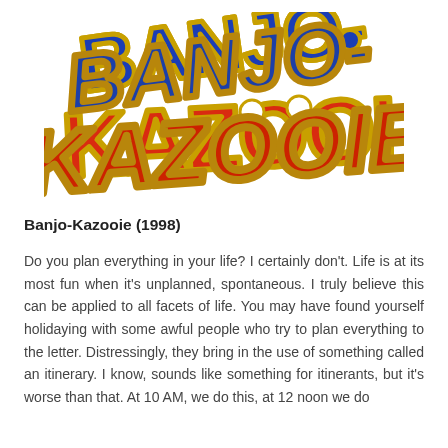[Figure (logo): Banjo-Kazooie game logo with blue and red stylized letters, gold outline, on white background]
Banjo-Kazooie (1998)
Do you plan everything in your life? I certainly don't. Life is at its most fun when it's unplanned, spontaneous. I truly believe this can be applied to all facets of life. You may have found yourself holidaying with some awful people who try to plan everything to the letter. Distressingly, they bring in the use of something called an itinerary. I know, sounds like something for itinerants, but it's worse than that. At 10 AM, we do this, at 12 noon we do